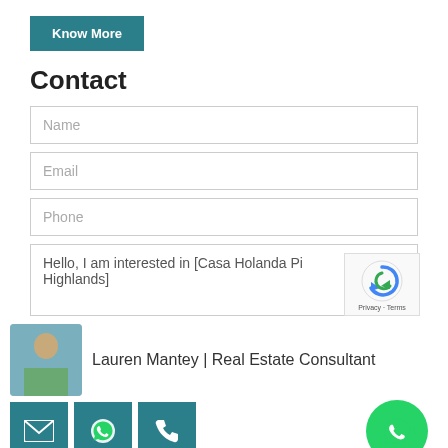Know More
Contact
Name
Email
Phone
Hello, I am interested in [Casa Holanda Pi Highlands]
Lauren Mantey | Real Estate Consultant